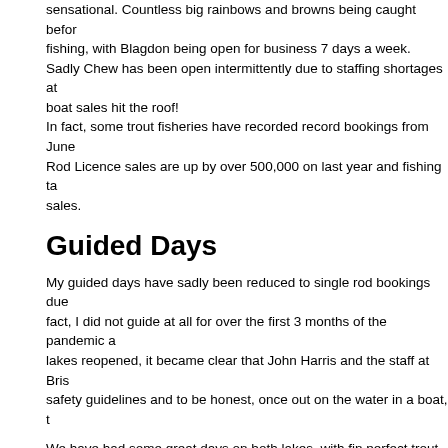sensational. Countless big rainbows and browns being caught before fishing, with Blagdon being open for business 7 days a week. Sadly Chew has been open intermittently due to staffing shortages at boat sales hit the roof! In fact, some trout fisheries have recorded record bookings from June Rod Licence sales are up by over 500,000 on last year and fishing ta sales.
Guided Days
My guided days have sadly been reduced to single rod bookings due fact, I did not guide at all for over the first 3 months of the pandemic a lakes reopened, it became clear that John Harris and the staff at Bris safety guidelines and to be honest, once out on the water in a boat, t
We have had some great days on both lakes, with fin perfect trout fall either Dry Fly or Washing Line tactics.
I did not target the pike as much as usual as Chew was closed for a b did we boated fish up to 25lbs 12ozs.
River Guiding
Recently I guided Barry Hawyes on the fabled River Test at Leckford Birthday treat. What a fabulous day! Barry has fished rivers in New Z browns and rainbows, but he was obviously blown away with the histo di...